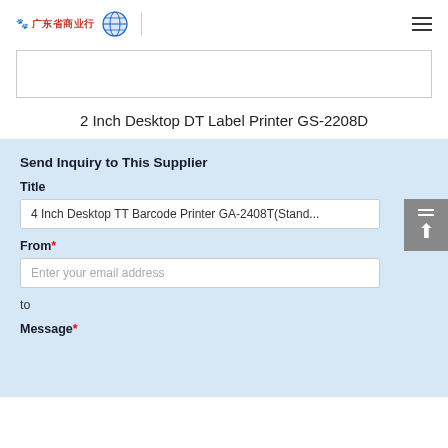广东省商业行 [logo] ≡
[Figure (other): Product image placeholder box (white rectangle with border)]
2 Inch Desktop DT Label Printer GS-2208D
Send Inquiry to This Supplier
Title
4 Inch Desktop TT Barcode Printer GA-2408T(Stand...
From*
Enter your email address
to
Message*